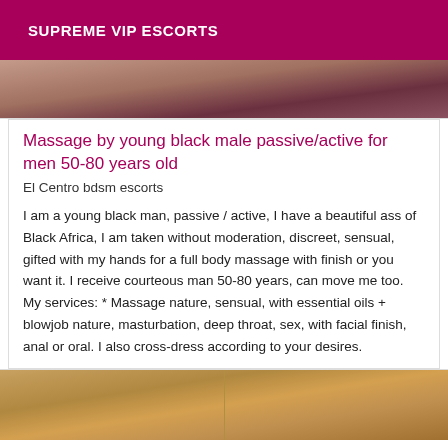SUPREME VIP ESCORTS
[Figure (photo): Close-up photo of skin tones, brownish-pink background image at top of listing card]
Massage by young black male passive/active for men 50-80 years old
El Centro bdsm escorts
I am a young black man, passive / active, I have a beautiful ass of Black Africa, I am taken without moderation, discreet, sensual, gifted with my hands for a full body massage with finish or you want it. I receive courteous man 50-80 years, can move me too. My services: * Massage nature, sensual, with essential oils + blowjob nature, masturbation, deep throat, sex, with facial finish, anal or oral. I also cross-dress according to your desires.
[Figure (photo): Close-up photo of wooden surface/table, warm brown tones at bottom of page]